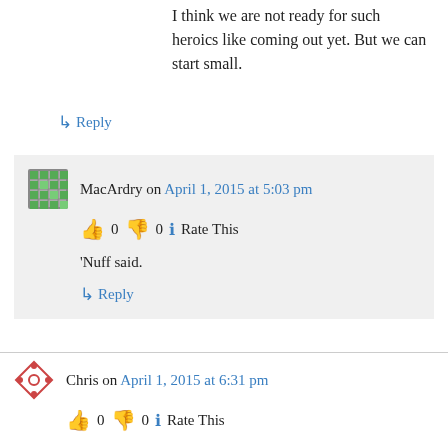I think we are not ready for such heroics like coming out yet. But we can start small.
↳ Reply
MacArdry on April 1, 2015 at 5:03 pm
👍 0 👎 0 ℹ Rate This
'Nuff said.
↳ Reply
Chris on April 1, 2015 at 6:31 pm
👍 0 👎 0 ℹ Rate This
I dont see same sex relationship thriving and